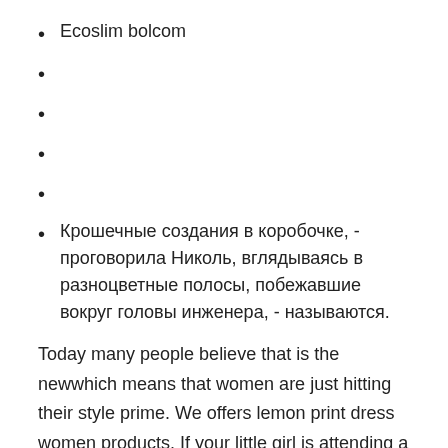Ecoslim bolcom
Крошечные создания в коробочке, - проговорила Николь, вглядываясь в разноцветные полосы, побежавшие вокруг головы инженера, - называются.
Today many people believe that is the newwhich means that women are just hitting their style prime. We offers lemon print dress women products. If your little girl is attending a wedding as a guest, dare to be bold and break away from traditional ivory with a